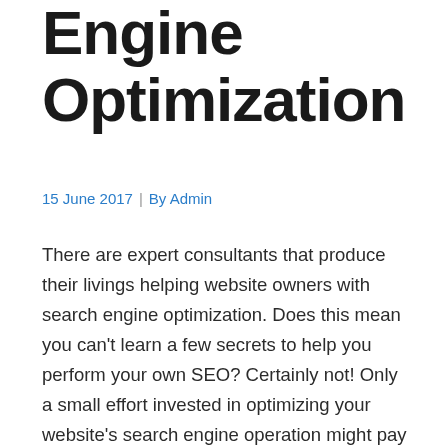Engine Optimization
15 June 2017  |  By Admin
There are expert consultants that produce their livings helping website owners with search engine optimization. Does this mean you can't learn a few secrets to help you perform your own SEO? Certainly not! Only a small effort invested in optimizing your website's search engine operation might pay off big with higher rankings and increased traffic. Keep reading for ideas to optimize your search engine performance.